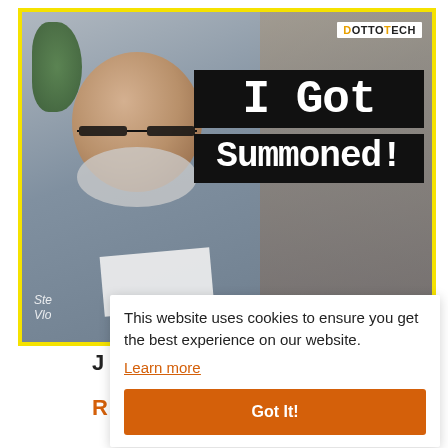[Figure (screenshot): Video thumbnail showing a bearded man holding a paper, with text 'I Got Summoned!' overlaid on a black background. DottoTech logo visible top right. Yellow border around thumbnail.]
This website uses cookies to ensure you get the best experience on our website.
Learn more
Got It!